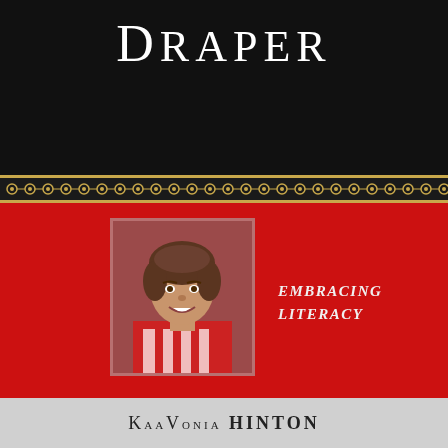DRAPER
[Figure (illustration): Decorative gold and black ornamental border strip separating the black title area from the red section below]
[Figure (photo): Portrait photograph of a smiling African-American woman with short brown hair, wearing a red and white striped top, set against a red background with a dark red border frame]
EMBRACING LITERACY
KaaVonia HINTON